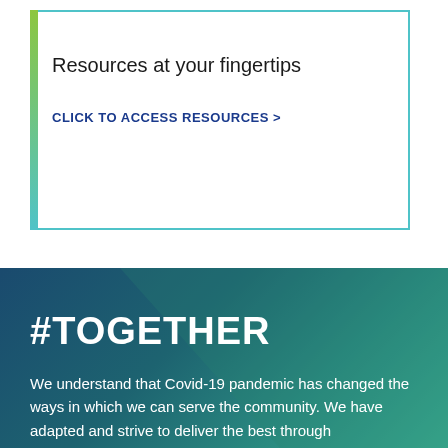Resources at your fingertips
CLICK TO ACCESS RESOURCES >
#TOGETHER
We understand that Covid-19 pandemic has changed the ways in which we can serve the community. We have adapted and strive to deliver the best through